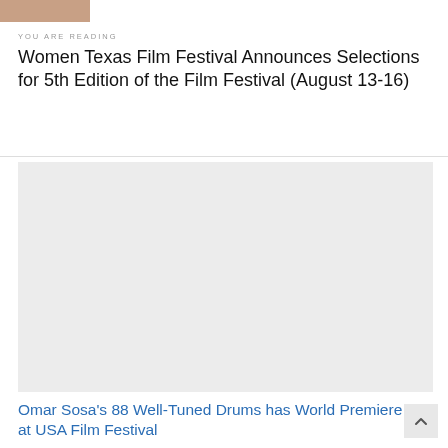[Figure (photo): Partial image strip at the top left corner of the page, showing a cropped photo (faces/people visible)]
YOU ARE READING
Women Texas Film Festival Announces Selections for 5th Edition of the Film Festival (August 13-16)
[Figure (photo): Large light gray placeholder image area for an article photo]
Omar Sosa's 88 Well-Tuned Drums has World Premiere at USA Film Festival